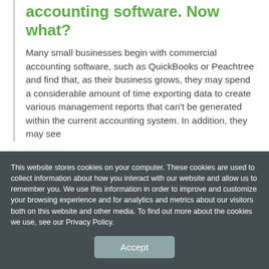accounting software. Now what?
Many small businesses begin with commercial accounting software, such as QuickBooks or Peachtree and find that, as their business grows, they may spend a considerable amount of time exporting data to create various management reports that can't be generated within the current accounting system. In addition, they may see
This website stores cookies on your computer. These cookies are used to collect information about how you interact with our website and allow us to remember you. We use this information in order to improve and customize your browsing experience and for analytics and metrics about our visitors both on this website and other media. To find out more about the cookies we use, see our Privacy Policy.